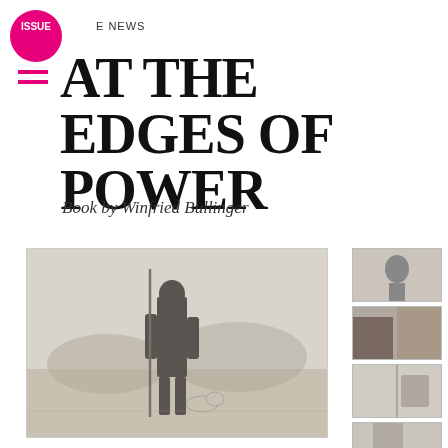E NEWS
AT THE EDGES OF POWER
Book by Winfried Bullinger
[Figure (photo): Black and white photograph of a young person standing in a field, holding a tall spear or stick, with a dog beside them. Open savanna landscape in background.]
[Figure (photo): Small thumbnail black and white photo 1]
[Figure (photo): Small thumbnail black and white photo 2]
[Figure (photo): Small thumbnail black and white photo 3]
[Figure (photo): Small thumbnail black and white photo 4]
[Figure (photo): Small thumbnail black and white photo 5]
[Figure (other): Downward-pointing chevron/arrow navigation icon]